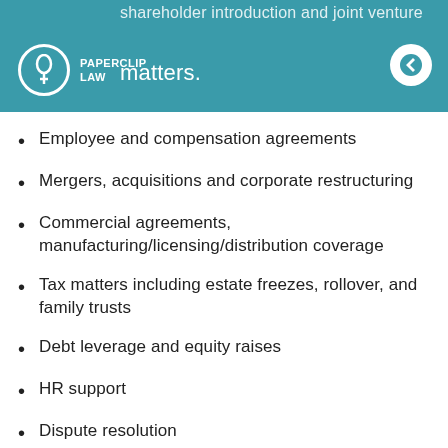shareholder introduction and joint venture matters.
Employee and compensation agreements
Mergers, acquisitions and corporate restructuring
Commercial agreements, manufacturing/licensing/distribution coverage
Tax matters including estate freezes, rollover, and family trusts
Debt leverage and equity raises
HR support
Dispute resolution
Intellectual Property matters,